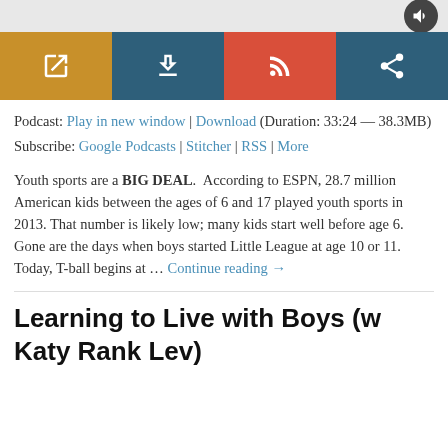[Figure (screenshot): Top bar with speaker/audio icon button on right side against light gray background]
[Figure (infographic): Four-button row: gold external link button, teal download button, red RSS button, dark teal share button]
Podcast: Play in new window | Download (Duration: 33:24 — 38.3MB)
Subscribe: Google Podcasts | Stitcher | RSS | More
Youth sports are a BIG DEAL.  According to ESPN, 28.7 million American kids between the ages of 6 and 17 played youth sports in 2013. That number is likely low; many kids start well before age 6. Gone are the days when boys started Little League at age 10 or 11. Today, T-ball begins at … Continue reading →
Learning to Live with Boys (w Katy Rank Lev)